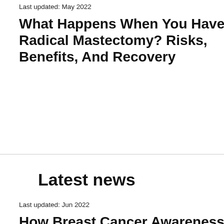Last updated: May 2022
What Happens When You Have A Radical Mastectomy? Risks, Benefits, And Recovery
Las...
B... To...
Latest news
Last updated: Jun 2022
How Breast Cancer Awareness Is Helping To Fight The Disease
Las...
B... To...